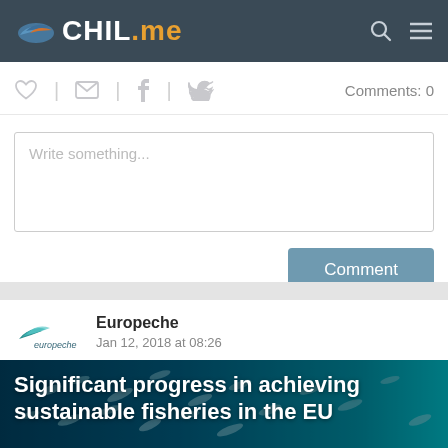CHIL.me
Comments: 0
Write something...
Comment
Europeche
Jan 12, 2018 at 08:26
Significant progress in achieving sustainable fisheries in the EU